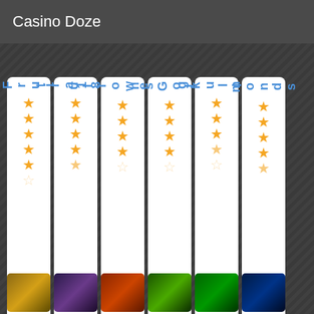Casino Doze
[Figure (screenshot): Six vertical white card strips with blue text labels (partially visible: '7Fruits', 'tra18+', 'lloween', 'nsGold', 'skulls', 'nonds') and star ratings below each label on a dark diagonal-striped background]
[Figure (screenshot): Six game thumbnail images at the bottom showing casino game previews with dark/gold/green themes]